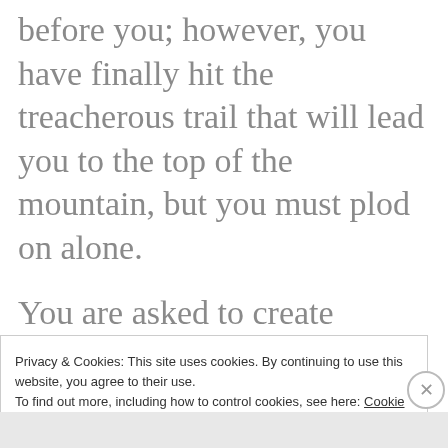before you; however, you have finally hit the treacherous trail that will lead you to the top of the mountain, but you must plod on alone.
You are asked to create something innovative or learn things that must become so habitual and natural you can perform them in your sleep, but this part of the...
Privacy & Cookies: This site uses cookies. By continuing to use this website, you agree to their use.
To find out more, including how to control cookies, see here: Cookie Policy
Close and accept